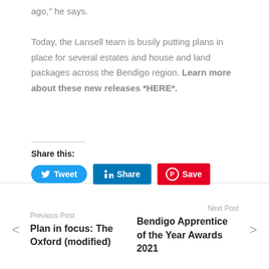ago," he says.

Today, the Lansell team is busily putting plans in place for several estates and house and land packages across the Bendigo region. Learn more about these new releases *HERE*.
Share this:
[Figure (other): Social sharing buttons: Tweet (Twitter/blue), Share (LinkedIn/blue), Save (Pinterest/red)]
Previous Post
Plan in focus: The Oxford (modified)
Next Post
Bendigo Apprentice of the Year Awards 2021